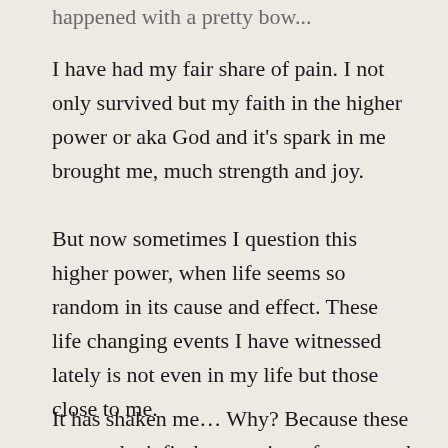happened with a pretty bow...
I have had my fair share of pain. I not only survived but my faith in the higher power or aka God and it’s spark in me brought me, much strength and joy.
But now sometimes I question this higher power, when life seems so random in its cause and effect. These life changing events I have witnessed lately is not even in my life but those close to me.
It has shaken me… Why? Because these events don’t fit the equation of cause and effect of